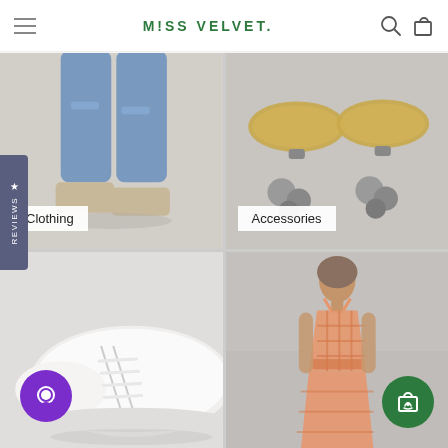MISS VELVET.
[Figure (photo): Clothing category: woman's legs in ripped jeans and sandals on grey background]
[Figure (photo): Accessories category: gold and silver statement earrings on grey background]
[Figure (photo): Shoes category: white lace-up sneakers closeup on light background]
[Figure (photo): Model wearing orange checkered maxi dress on grey background]